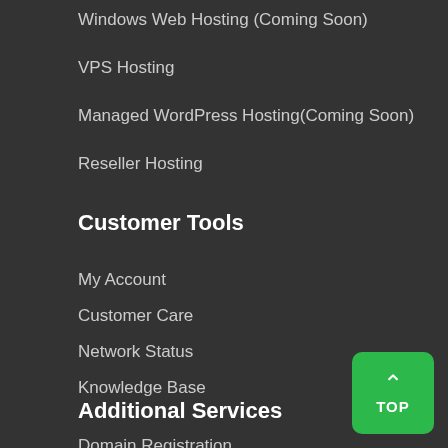Windows Web Hosting (Coming Soon)
VPS Hosting
Managed WordPress Hosting(Coming Soon)
Reseller Hosting
Customer Tools
My Account
Customer Care
Network Status
Knowledge Base
Additional Services
Domain Registration